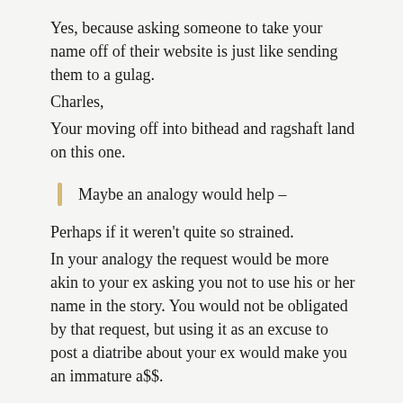Yes, because asking someone to take your name off of their website is just like sending them to a gulag.
Charles,
Your moving off into bithead and ragshaft land on this one.
Maybe an analogy would help –
Perhaps if it weren't quite so strained.
In your analogy the request would be more akin to your ex asking you not to use his or her name in the story. You would not be obligated by that request, but using it as an excuse to post a diatribe about your ex would make you an immature a$$.
The point is that you have no right to make such a request because you and your partner shared equally in the event.
Hilarious that this was included in a supposed defense of free speech.